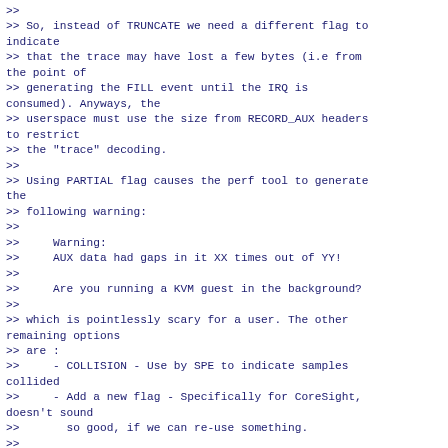>>
>> So, instead of TRUNCATE we need a different flag to indicate
>> that the trace may have lost a few bytes (i.e from the point of
>> generating the FILL event until the IRQ is consumed). Anyways, the
>> userspace must use the size from RECORD_AUX headers to restrict
>> the "trace" decoding.
>>
>> Using PARTIAL flag causes the perf tool to generate the
>> following warning:
>>
>>     Warning:
>>     AUX data had gaps in it XX times out of YY!
>>
>>     Are you running a KVM guest in the background?
>>
>> which is pointlessly scary for a user. The other remaining options
>> are :
>>     - COLLISION - Use by SPE to indicate samples collided
>>     - Add a new flag - Specifically for CoreSight, doesn't sound
>>       so good, if we can re-use something.
>>
>
> What is the user visible behaviour when using